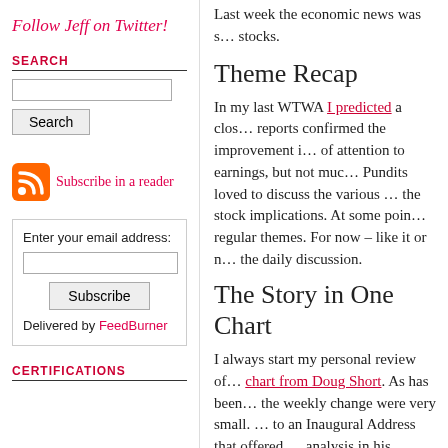Last week the economic news was s… stocks.
Follow Jeff on Twitter!
SEARCH
Subscribe in a reader
Enter your email address:
Delivered by FeedBurner
CERTIFICATIONS
Theme Recap
In my last WTWA I predicted a clos… reports confirmed the improvement i… of attention to earnings, but not muc… Pundits loved to discuss the various … the stock implications. At some poin… regular themes. For now – like it or n… the daily discussion.
The Story in One Chart
I always start my personal review of… chart from Doug Short. As has been… the weekly change were very small. … to an Inaugural Address that offered … analysis in his commentary. (Persona… big enough to merit discussion, but t…
[Figure (continuous-plot): $SPX S&P 500 Large Cap Index INDX chart showing 'Up 1.60% YTD', dated 13-Jan-2017, Open 2272.74 High, with candlestick price data]